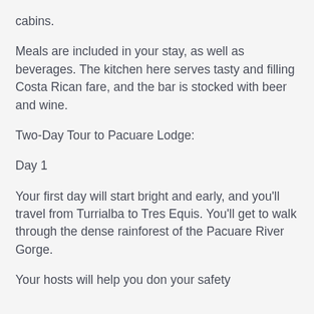cabins.
Meals are included in your stay, as well as beverages. The kitchen here serves tasty and filling Costa Rican fare, and the bar is stocked with beer and wine.
Two-Day Tour to Pacuare Lodge:
Day 1
Your first day will start bright and early, and you'll travel from Turrialba to Tres Equis. You'll get to walk through the dense rainforest of the Pacuare River Gorge.
Your hosts will help you don your safety